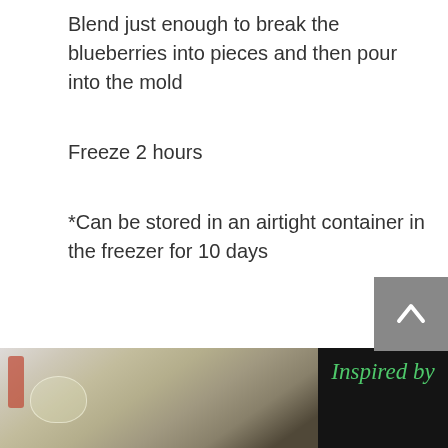Blend just enough to break the blueberries into pieces and then pour into the mold
Freeze 2 hours
*Can be stored in an airtight container in the freezer for 10 days
Posted in Dog Friendly Recipes, Fruit for Dogs, helpful info for lab owners, Holistic Dog Care, Holistic Health, holistic pet care, Homemade Dog Treats, natural ingredients, organic, Organic Dog Treats, Raw Fed Dogs, Raw Feeding     Leave a comment
[Figure (photo): Photo of kitchen counter with ingredients on the left, and a dark chalkboard-style panel on the right with green cursive text reading 'Inspired by']